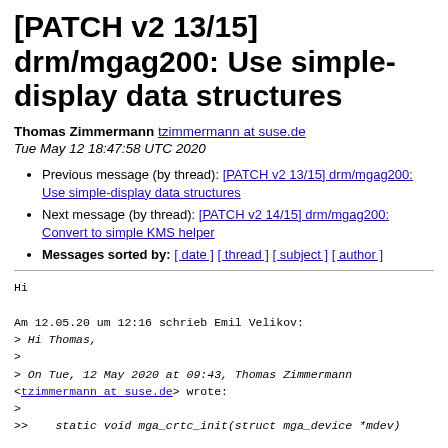[PATCH v2 13/15] drm/mgag200: Use simple-display data structures
Thomas Zimmermann tzimmermann at suse.de
Tue May 12 18:47:58 UTC 2020
Previous message (by thread): [PATCH v2 13/15] drm/mgag200: Use simple-display data structures
Next message (by thread): [PATCH v2 14/15] drm/mgag200: Convert to simple KMS helper
Messages sorted by: [ date ] [ thread ] [ subject ] [ author ]
Hi

Am 12.05.20 um 12:16 schrieb Emil Velikov:
> Hi Thomas,
>
> On Tue, 12 May 2020 at 09:43, Thomas Zimmermann
<tzimmermann at suse.de> wrote:
>
>>    static void mga_crtc_init(struct mga_device *mdev)